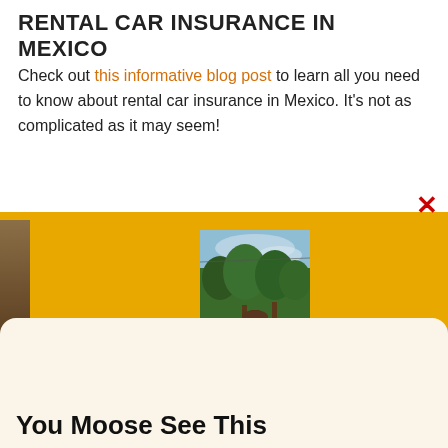RENTAL CAR INSURANCE IN MEXICO
Check out this informative blog post to learn all you need to know about rental car insurance in Mexico. It's not as complicated as it may seem!
[Figure (photo): Person with backpack viewed from behind, surrounded by green trees and outdoor scenery. Partially overlapping a yellow background popup/overlay.]
You Moose See This